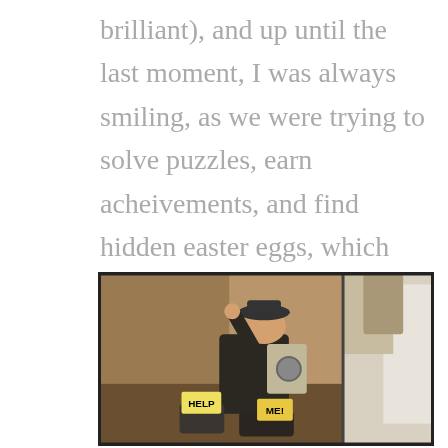brilliant), and up until the last moment, I was always smiling, as we were trying to solve puzzles, earn acheivements, and find hidden easter eggs, which just like every other aspect of the game, are completley ridiculous. In the best of ways.
[Figure (photo): A man in a suit and hat sits on the floor looking distressed, with sticky notes on his feet reading 'HELP' and 'ME!'. The scene appears to be a movie or TV still.]